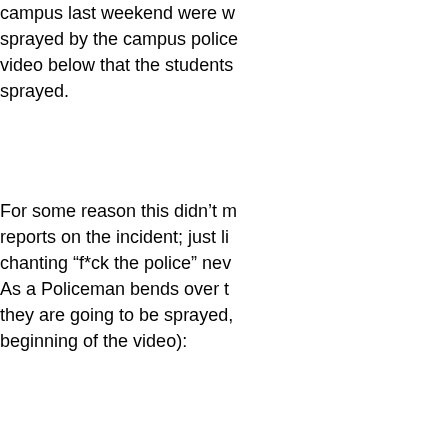campus last weekend were w... sprayed by the campus police... video below that the students... sprayed.
For some reason this didn't m... reports on the incident; just li... chanting “f*ck the police” nev... As a Policeman bends over t... they are going to be sprayed,... beginning of the video):
“Your shooting us specifically...
Posted...
[Figure (illustration): Small square avatar image showing abstract line drawing on blue-grey background]
http://peppersprayingcop.t...
It was military grade PS. Rec... distance---12 inches.
http://www.washingtonsblo...
"Researchers at the Universi... found that pepper spray coul...